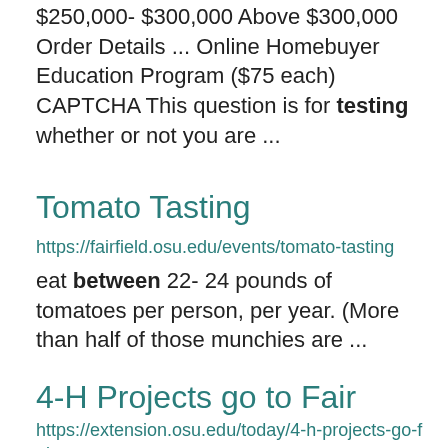$250,000- $300,000 Above $300,000 Order Details ... Online Homebuyer Education Program ($75 each) CAPTCHA This question is for testing whether or not you are ...
Tomato Tasting
https://fairfield.osu.edu/events/tomato-tasting
eat between 22- 24 pounds of tomatoes per person, per year. (More than half of those munchies are ...
4-H Projects go to Fair
https://extension.osu.edu/today/4-h-projects-go-fair